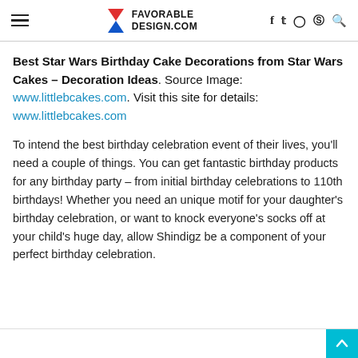FAVORABLE DESIGN.COM
Best Star Wars Birthday Cake Decorations from Star Wars Cakes – Decoration Ideas. Source Image: www.littlebcakes.com. Visit this site for details: www.littlebcakes.com
To intend the best birthday celebration event of their lives, you'll need a couple of things. You can get fantastic birthday products for any birthday party – from initial birthday celebrations to 110th birthdays! Whether you need an unique motif for your daughter's birthday celebration, or want to knock everyone's socks off at your child's huge day, allow Shindigz be a component of your perfect birthday celebration.